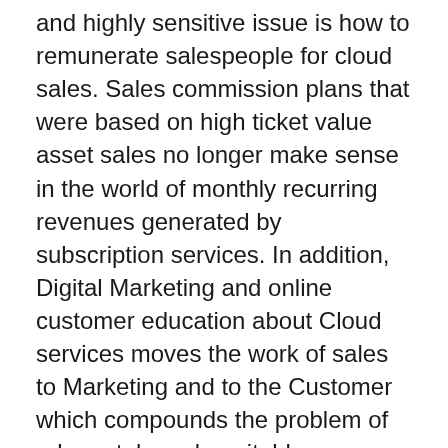and highly sensitive issue is how to remunerate salespeople for cloud sales. Sales commission plans that were based on high ticket value asset sales no longer make sense in the world of monthly recurring revenues generated by subscription services. In addition, Digital Marketing and online customer education about Cloud services moves the work of sales to Marketing and to the Customer which compounds the problem of adequately and equitably rewarding salespeople for selling cloud-based services. Clearly if the compensation KPIs are not revised and aligned with the new business model of a subscription-based revenue Cloud services, sales resistance to selling cloud may stall the transformation effort. In some cases, resulting in the company actually reversing